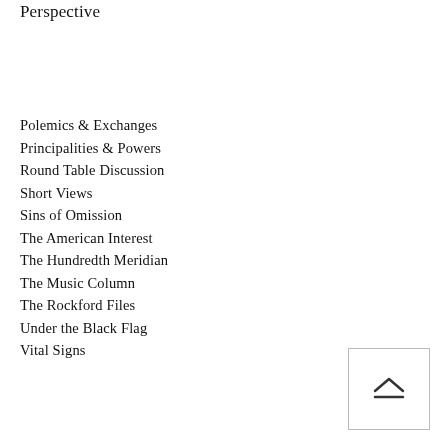Perspective
Polemics & Exchanges
Principalities & Powers
Round Table Discussion
Short Views
Sins of Omission
The American Interest
The Hundredth Meridian
The Music Column
The Rockford Files
Under the Black Flag
Vital Signs